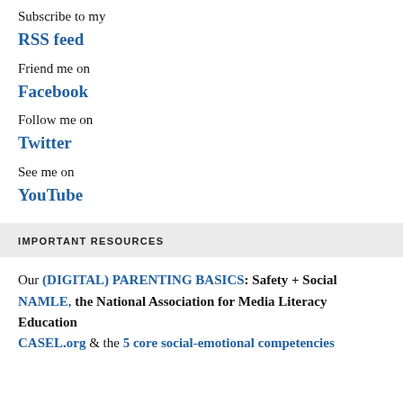Subscribe to my
RSS feed
Friend me on
Facebook
Follow me on
Twitter
See me on
YouTube
IMPORTANT RESOURCES
Our (DIGITAL) PARENTING BASICS: Safety + Social
NAMLE, the National Association for Media Literacy Education
CASEL.org & the 5 core social-emotional competencies